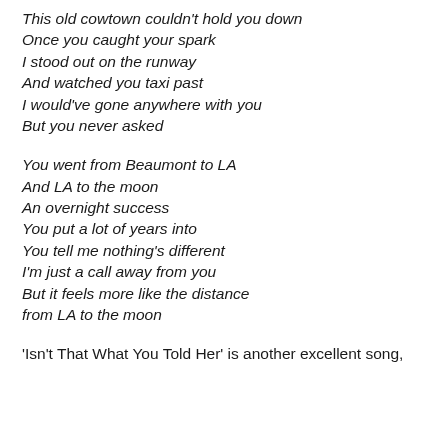This old cowtown couldn't hold you down
Once you caught your spark
I stood out on the runway
And watched you taxi past
I would've gone anywhere with you
But you never asked
You went from Beaumont to LA
And LA to the moon
An overnight success
You put a lot of years into
You tell me nothing's different
I'm just a call away from you
But it feels more like the distance
from LA to the moon
'Isn't That What You Told Her' is another excellent song,